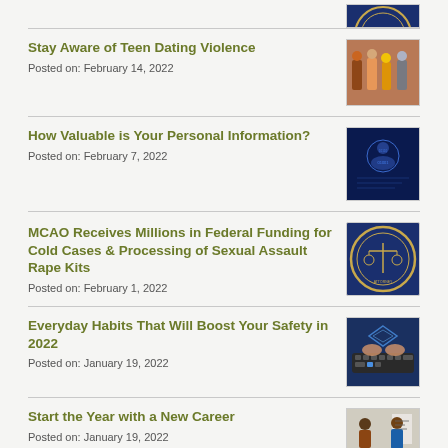[Figure (photo): Partial view of a circular seal/logo at top right]
Stay Aware of Teen Dating Violence
Posted on: February 14, 2022
[Figure (photo): Group of teenagers walking together outdoors]
How Valuable is Your Personal Information?
Posted on: February 7, 2022
[Figure (illustration): Digital illustration of a human figure made of data/code on dark blue background]
MCAO Receives Millions in Federal Funding for Cold Cases & Processing of Sexual Assault Rape Kits
Posted on: February 1, 2022
[Figure (logo): Circular seal/badge logo for Maricopa County Attorney office]
Everyday Habits That Will Boost Your Safety in 2022
Posted on: January 19, 2022
[Figure (photo): Hands typing on a keyboard with digital security graphics]
Start the Year with a New Career
Posted on: January 19, 2022
[Figure (photo): Person in blue shirt presenting to another person]